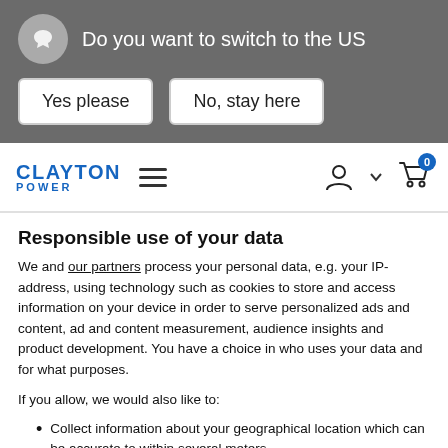Do you want to switch to the US
Yes please
No, stay here
[Figure (logo): Clayton Power logo with blue text and hamburger menu icon]
Responsible use of your data
We and our partners process your personal data, e.g. your IP-address, using technology such as cookies to store and access information on your device in order to serve personalized ads and content, ad and content measurement, audience insights and product development. You have a choice in who uses your data and for what purposes.
If you allow, we would also like to:
Collect information about your geographical location which can be accurate to within several meters
Identify your device by actively scanning it for specific characteristics (fingerprinting)
Find out more about how your personal data is processed and set your